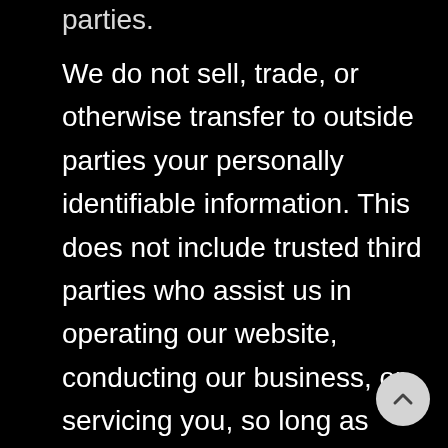parties.
We do not sell, trade, or otherwise transfer to outside parties your personally identifiable information. This does not include trusted third parties who assist us in operating our website, conducting our business, or servicing you, so long as those parties agree to keep this information confidential. We may also release your information when we believe release is appropriate to comply with the law, enforce our site policies, or protect ours or others rights, property, or safety. However, non-personally identifiable visitor information may be provided to other parties for marketing, advertising, or other uses.